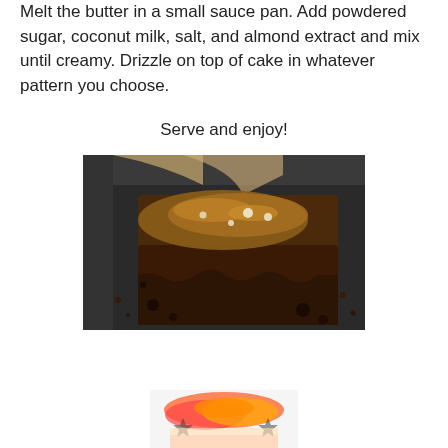Melt the butter in a small sauce pan. Add powdered sugar, coconut milk, salt, and almond extract and mix until creamy. Drizzle on top of cake in whatever pattern you choose.
Serve and enjoy!
[Figure (photo): Close-up photo of a chocolate brownie or cake slice with caramel/chocolate glaze and white chips, sitting in a dark baking pan]
[Figure (photo): Partial view of a colorful decorated cake or dessert, partially cropped at the bottom of the page]